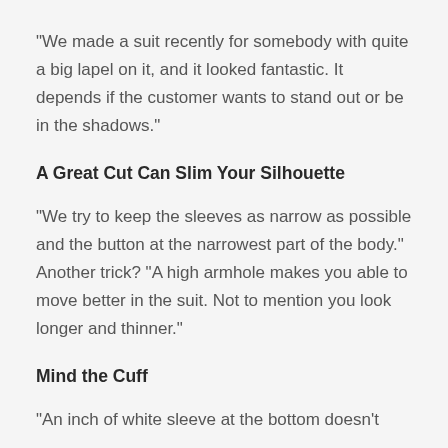“We made a suit recently for somebody with quite a big lapel on it, and it looked fantastic. It depends if the customer wants to stand out or be in the shadows.”
A Great Cut Can Slim Your Silhouette
“We try to keep the sleeves as narrow as possible and the button at the narrowest part of the body.” Another trick? “A high armhole makes you able to move better in the suit. Not to mention you look longer and thinner.”
Mind the Cuff
“An inch of white sleeve at the bottom doesn’t